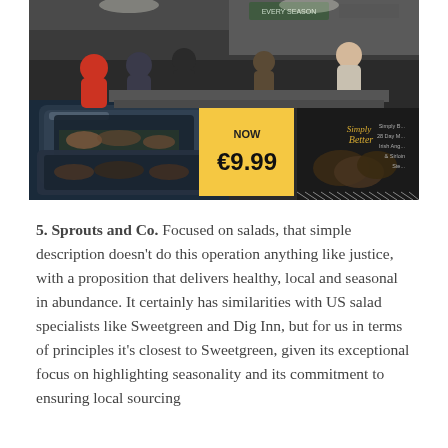[Figure (photo): Interior of a food market or deli counter with customers browsing. A prominent yellow sign in the foreground reads 'NOW €9.99'. A dark sign on the right features the 'Simply Better' brand and shows food imagery.]
5. Sprouts and Co. Focused on salads, that simple description doesn't do this operation anything like justice, with a proposition that delivers healthy, local and seasonal in abundance. It certainly has similarities with US salad specialists like Sweetgreen and Dig Inn, but for us in terms of principles it's closest to Sweetgreen, given its exceptional focus on highlighting seasonality and its commitment to ensuring local sourcing